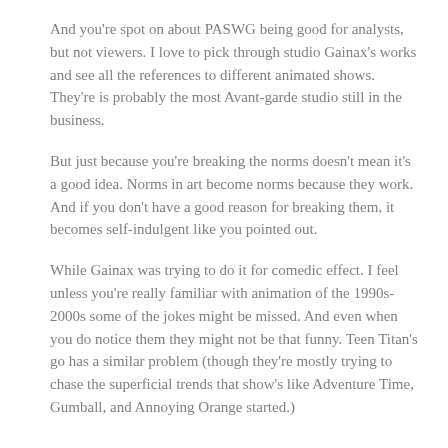And you're spot on about PASWG being good for analysts, but not viewers. I love to pick through studio Gainax's works and see all the references to different animated shows. They're is probably the most Avant-garde studio still in the business.
But just because you're breaking the norms doesn't mean it's a good idea. Norms in art become norms because they work. And if you don't have a good reason for breaking them, it becomes self-indulgent like you pointed out.
While Gainax was trying to do it for comedic effect. I feel unless you're really familiar with animation of the 1990s-2000s some of the jokes might be missed. And even when you do notice them they might not be that funny. Teen Titan's go has a similar problem (though they're mostly trying to chase the superficial trends that show's like Adventure Time, Gumball, and Annoying Orange started.)